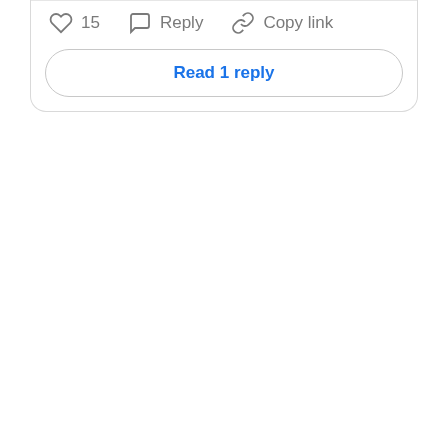[Figure (screenshot): Social media comment interface showing action buttons: heart icon with count 15, reply icon with label Reply, chain link icon with label Copy link, and a Read 1 reply button]
15  Reply  Copy link
Read 1 reply